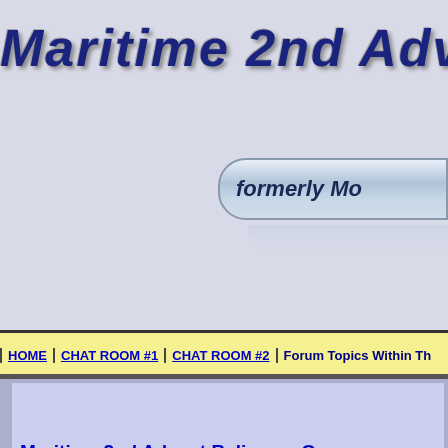Maritime 2nd Adv
[Figure (other): Rounded pill-shaped button with text 'formerly Mo']
HOME | CHAT ROOM #1 | CHAT ROOM #2 | Forum Topics Within Th
Maritime 2nd Advent Believers On
(formerly
Consisting mainly of both members a
Welcomes and invites other members and
Click Here To Re
Maritime 2nd Advent Christian Believers OnLine Forums Consisting Mainly of Church   Forums   Forum Member Login
Portal   Forums   Cale